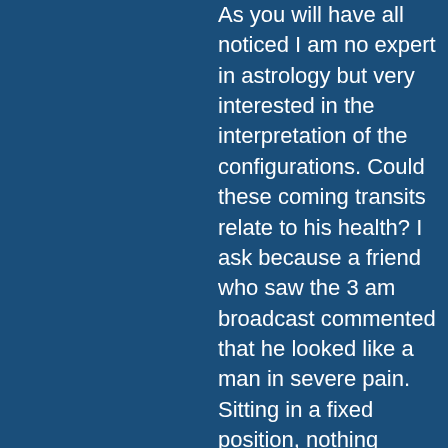As you will have all noticed I am no expert in astrology but very interested in the interpretation of the configurations. Could these coming transits relate to his health? I ask because a friend who saw the 3 am broadcast commented that he looked like a man in severe pain. Sitting in a fixed position, nothing moved but his face. Another thought we had was: were we seeing a deep fake (which would be created in a similar manner)? Putin already incapacitated but a distraction being staged to